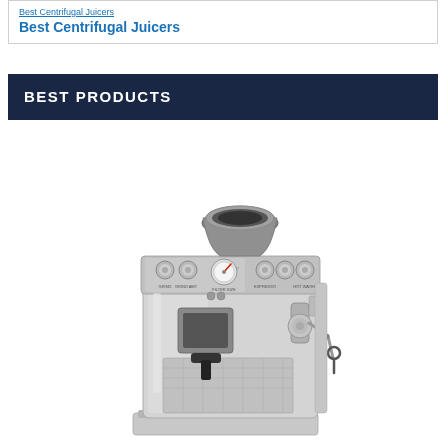Best Centrifugal Juicers
BEST PRODUCTS
[Figure (photo): Front view of a Breville stainless steel espresso machine with built-in grinder, multiple control knobs, pressure gauge, steam wand, and portafilter.]